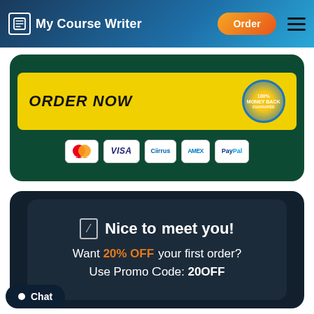My Course Writer
[Figure (screenshot): Order Now banner with 100% guarantee seal and payment icons (Mastercard, Visa, Cirrus, Amex, PayPal) on dark green background]
Nice to meet you! Want 20% OFF your first order? Use Promo Code: 20OFF
Chat